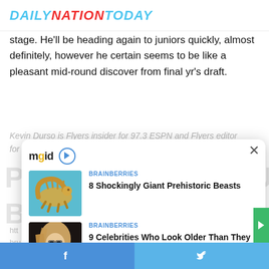DAILYNATIONTODAY
stage. He'll be heading again to juniors quickly, almost definitely, however he certain seems to be like a pleasant mid-round discover from final yr's draft.
Kevin Durso is Flyers insider for 97.3 ESPN and Flyers editor for...
[Figure (screenshot): MGID advertisement widget showing two sponsored content items: 1) BRAINBERRIES - '8 Shockingly Giant Prehistoric Beasts' with image of a prehistoric creature; 2) BRAINBERRIES - '9 Celebrities Who Look Older Than They Really Are' with image of a blonde woman wearing glasses. Widget has MGID logo and close button.]
Facebook share | Twitter share